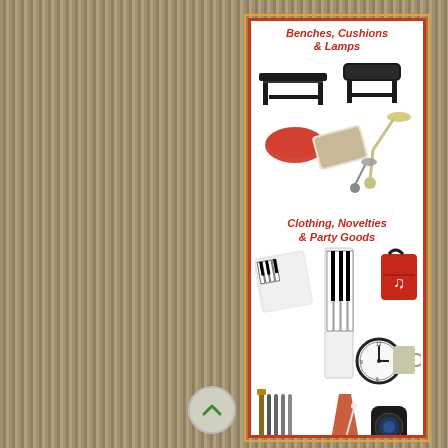[Figure (illustration): Advertisement banner for musician products. Top section: 'Benches, Cushions & Lamps' with photos of piano benches, cushions, and a piano lamp. Middle section: 'Clothing, Novelties & Party Goods' with photos of keyboard-print scarf/wrap, keyboard tote bag, red bag, clock, and a cup. Bottom section: 'Wires & Tuning Kits' and 'Metronomes' with photos of tuning tools, a metronome, and a device.]
Benches, Cushions & Lamps
Clothing, Novelties & Party Goods
Wires & Tuning Kits   Metronomes
Everything for the Musician